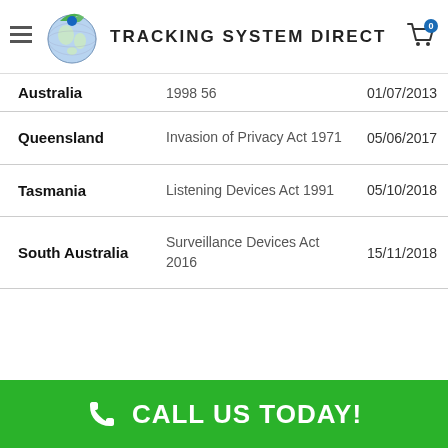Tracking System Direct
| Region | Law | Date |
| --- | --- | --- |
| Australia | 1998 56 | 01/07/2013 |
| Queensland | Invasion of Privacy Act 1971 | 05/06/2017 |
| Tasmania | Listening Devices Act 1991 | 05/10/2018 |
| South Australia | Surveillance Devices Act 2016 | 15/11/2018 |
CALL US TODAY!